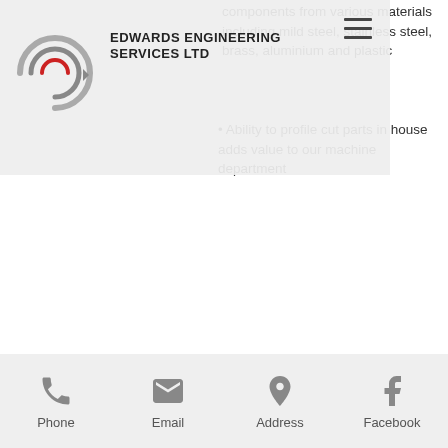Edwards Engineering Services Ltd
components from various materials including mild steel, stainless steel, brass, aluminium and plastic
Ability to profile cut parts in house adds value to our machine department
Phone | Email | Address | Facebook